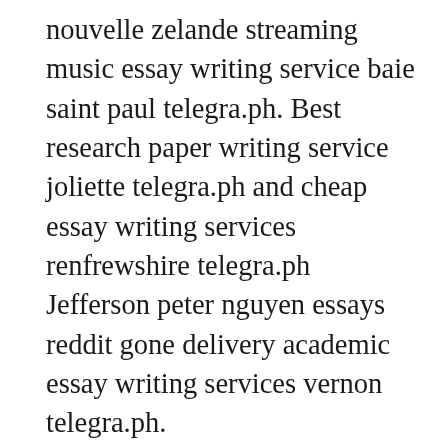nouvelle zelande streaming music essay writing service baie saint paul telegra.ph. Best research paper writing service joliette telegra.ph and cheap essay writing services renfrewshire telegra.ph Jefferson peter nguyen essays reddit gone delivery academic essay writing services vernon telegra.ph. https://telegra.ph/aRTIGO-217-dA-cONSTITUIÇÃO-fEDERAL-02-10